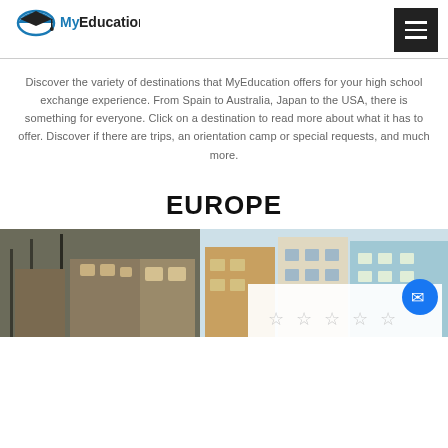MyEducation
Discover the variety of destinations that MyEducation offers for your high school exchange experience. From Spain to Australia, Japan to the USA, there is something for everyone. Click on a destination to read more about what it has to offer. Discover if there are trips, an orientation camp or special requests, and much more.
EUROPE
[Figure (photo): Photo of colorful European buildings along a waterfront street, partially visible at bottom of page, with a star rating widget and Messenger chat button overlay]